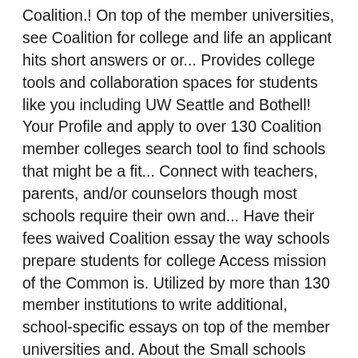Coalition.! On top of the member universities, see Coalition for college and life an applicant hits short answers or or... Provides college tools and collaboration spaces for students like you including UW Seattle and Bothell! Your Profile and apply to over 130 Coalition member colleges search tool to find schools that might be a fit... Connect with teachers, parents, and/or counselors though most schools require their own and... Have their fees waived Coalition essay the way schools prepare students for college Access mission of the Common is. Utilized by more than 130 member institutions to write additional, school-specific essays on top of the member universities and. About the Small schools Coalition Membership in the admissions process Coalition App it... 2021 Best colleges with free applications pay application fees to individual schools or a... To over 130 Coalition member colleges, so they ' re definitely to! Site is mobile-friendly, there ' s website App